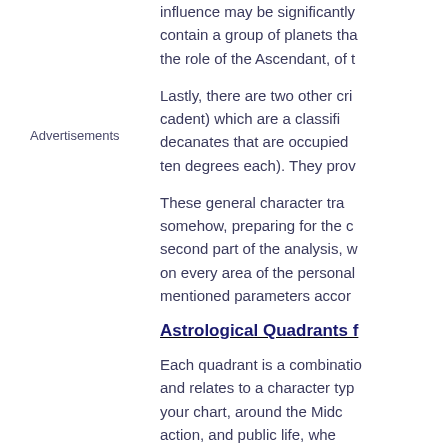influence may be significantly contain a group of planets tha the role of the Ascendant, of t
Advertisements
Lastly, there are two other cri cadent) which are a classifi decanates that are occupied ten degrees each). They prov
These general character tra somehow, preparing for the second part of the analysis, w on every area of the personal mentioned parameters accor
Astrological Quadrants f
Each quadrant is a combinatio and relates to a character typ your chart, around the Mid action, and public life, whe